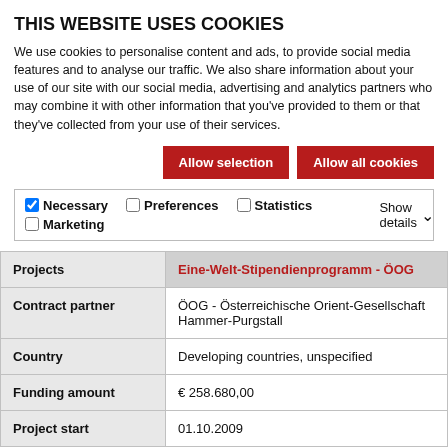THIS WEBSITE USES COOKIES
We use cookies to personalise content and ads, to provide social media features and to analyse our traffic. We also share information about your use of our site with our social media, advertising and analytics partners who may combine it with other information that you've provided to them or that they've collected from your use of their services.
Allow selection | Allow all cookies
Necessary | Preferences | Statistics | Marketing | Show details
| Field | Value |
| --- | --- |
| Projects | Eine-Welt-Stipendienprogramm - ÖOG |
| Contract partner | ÖOG - Österreichische Orient-Gesellschaft Hammer-Purgstall |
| Country | Developing countries, unspecified |
| Funding amount | € 258.680,00 |
| Project start | 01.10.2009 |